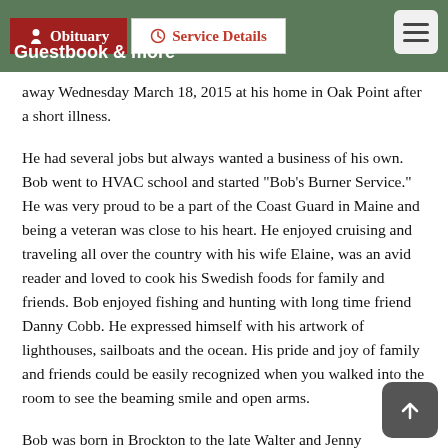Obituary | Service Details | Guestbook & more
away Wednesday March 18, 2015 at his home in Oak Point after a short illness.
He had several jobs but always wanted a business of his own. Bob went to HVAC school and started "Bob's Burner Service." He was very proud to be a part of the Coast Guard in Maine and being a veteran was close to his heart. He enjoyed cruising and traveling all over the country with his wife Elaine, was an avid reader and loved to cook his Swedish foods for family and friends. Bob enjoyed fishing and hunting with long time friend Danny Cobb. He expressed himself with his artwork of lighthouses, sailboats and the ocean. His pride and joy of family and friends could be easily recognized when you walked into the room to see the beaming smile and open arms.
Bob was born in Brockton to the late Walter and Jenny (Tasker) to all who considered him of the late Bob...